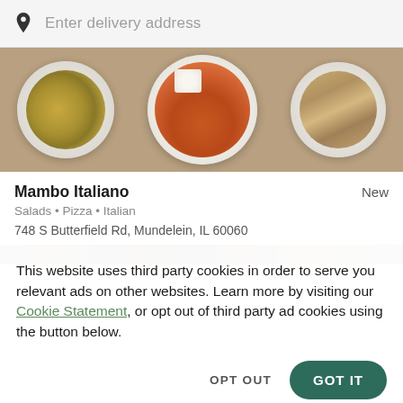Enter delivery address
[Figure (photo): Food dishes from above: a salad plate on the left, buffalo wings with dipping sauce in the center, and a sandwich/club on the right]
Mambo Italiano
New
Salads • Pizza • Italian
748 S Butterfield Rd, Mundelein, IL 60060
[Figure (photo): Partial second photo strip of restaurant food items]
This website uses third party cookies in order to serve you relevant ads on other websites. Learn more by visiting our Cookie Statement, or opt out of third party ad cookies using the button below.
OPT OUT
GOT IT